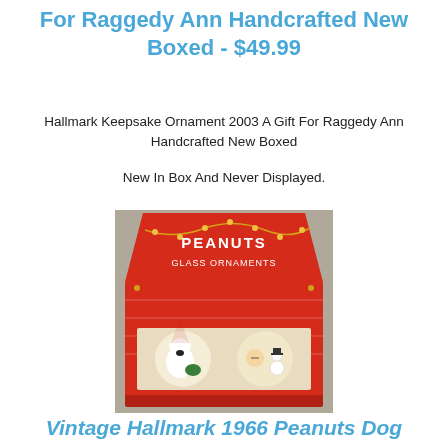For Raggedy Ann Handcrafted New Boxed - $49.99
Hallmark Keepsake Ornament 2003 A Gift For Raggedy Ann Handcrafted New Boxed
New In Box And Never Displayed.
[Figure (photo): Product photo showing a red Peanuts Glass Ornaments box shaped like Snoopy's doghouse, containing two round ornaments — one showing Snoopy and one showing Charlie Brown with a snowman.]
Vintage Hallmark 1966 Peanuts Dog